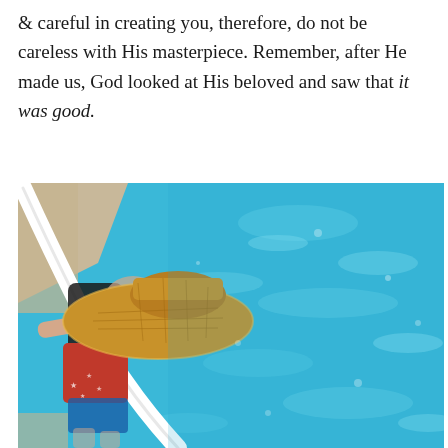& careful in creating you, therefore, do not be careless with His masterpiece. Remember, after He made us, God looked at His beloved and saw that it was good.
[Figure (photo): Overhead view of a person wearing a wide-brim straw hat and red patterned swimsuit sitting at the edge of a bright blue swimming pool, legs in the water.]